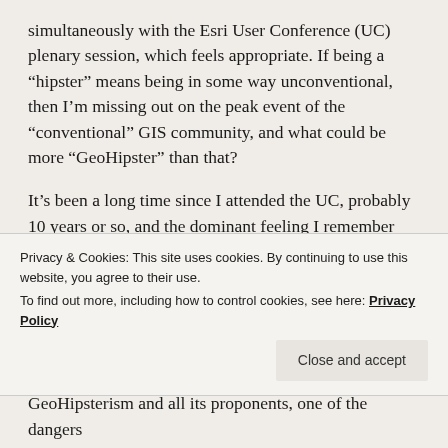simultaneously with the Esri User Conference (UC) plenary session, which feels appropriate. If being a “hipster” means being in some way unconventional, then I’m missing out on the peak event of the “conventional” GIS community, and what could be more “GeoHipster” than that?
It’s been a long time since I attended the UC, probably 10 years or so, and the dominant feeling I remember coming away from the last event was one of absolute dejection and depression.
I was at the time, as I am now, a proponent of doing things “differently” from being the o…
Privacy & Cookies: This site uses cookies. By continuing to use this website, you agree to their use.
To find out more, including how to control cookies, see here: Privacy Policy
Close and accept
GeoHipsterism and all its proponents, one of the dangers